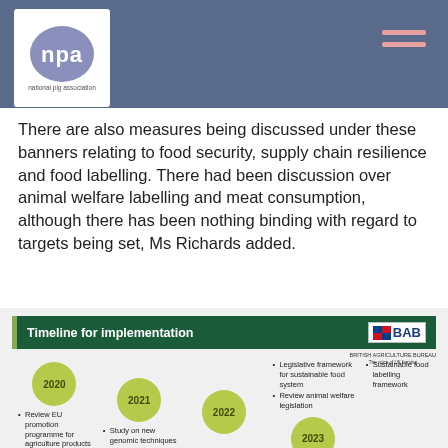[Figure (logo): NPA National Pig Association logo in top-left on dark blue-grey header bar, with hamburger menu icon on right]
There are also measures being discussed under these banners relating to food security, supply chain resilience and food labelling. There had been discussion over animal welfare labelling and meat consumption, although there has been nothing binding with regard to targets being set, Ms Richards added.
[Figure (infographic): Timeline for implementation infographic showing years 2020, 2021, 2022, 2023 as green bubbles with bullet points. 2020: Review EU promotion programme for agriculture products. 2021: Study on new genomic techniques, EU carbon. 2022: Revise. Legislative framework for sustainable food system, Review animal welfare legislation. 2023 bubble shown. Sustainable food labelling framework listed. BAB British Agriculture Bureau logo in top right.]